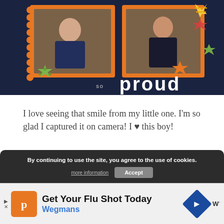[Figure (photo): Scrapbook layout on dark navy background featuring two photos of a young child/toddler in plaid-patterned frames with orange borders, decorated with colorful star cutouts in green, yellow, orange and multi-pattern, with text reading 'so proud' in large white/light letters]
I love seeing that smile from my little one. I'm so glad I captured it on camera! I ♥ this boy!
By continuing to use the site, you agree to the use of cookies.
more information   Accept
Get Your Flu Shot Today
Wegmans